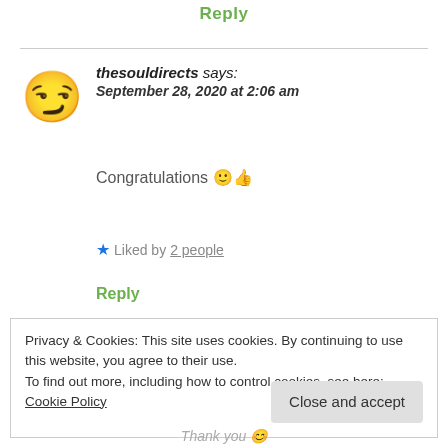Reply
thesouldirects says:
September 28, 2020 at 2:06 am
Congratulations 🙂👍
★ Liked by 2 people
Reply
Privacy & Cookies: This site uses cookies. By continuing to use this website, you agree to their use.
To find out more, including how to control cookies, see here: Cookie Policy
Close and accept
Thank you 😊